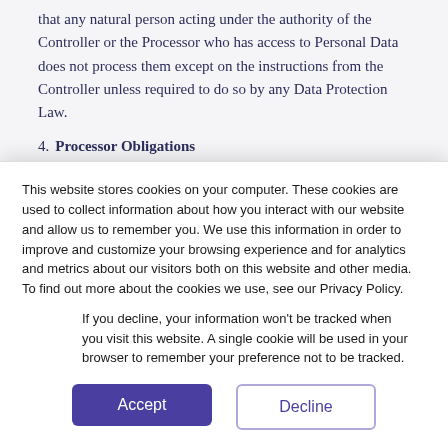that any natural person acting under the authority of the Controller or the Processor who has access to Personal Data does not process them except on the instructions from the Controller unless required to do so by any Data Protection Law.
4. Processor Obligations
A. The Processor may collect, process or use Personal Data
This website stores cookies on your computer. These cookies are used to collect information about how you interact with our website and allow us to remember you. We use this information in order to improve and customize your browsing experience and for analytics and metrics about our visitors both on this website and other media. To find out more about the cookies we use, see our Privacy Policy.
If you decline, your information won't be tracked when you visit this website. A single cookie will be used in your browser to remember your preference not to be tracked.
Accept
Decline